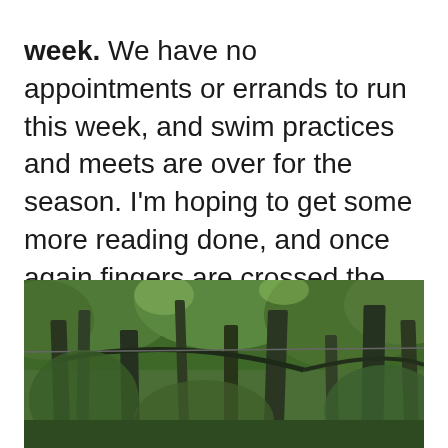week. We have no appointments or errands to run this week, and swim practices and meets are over for the season. I'm hoping to get some more reading done, and once again fingers are crossed the weather cooperates so we can get to the beach. It has been too long!
[Figure (photo): A photograph of tall trees with lush green canopy, likely a forest or park path, taken looking upward through the tree branches.]